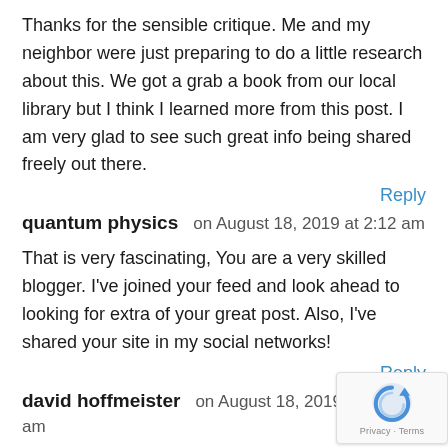Thanks for the sensible critique. Me and my neighbor were just preparing to do a little research about this. We got a grab a book from our local library but I think I learned more from this post. I am very glad to see such great info being shared freely out there.
Reply
quantum physics   on August 18, 2019 at 2:12 am
That is very fascinating, You are a very skilled blogger. I've joined your feed and look ahead to looking for extra of your great post. Also, I've shared your site in my social networks!
Reply
david hoffmeister   on August 18, 2019 at 10:34 am
Way cool, some valid points! I appreciate you making this article available, the rest of the site is also high quality a fun.